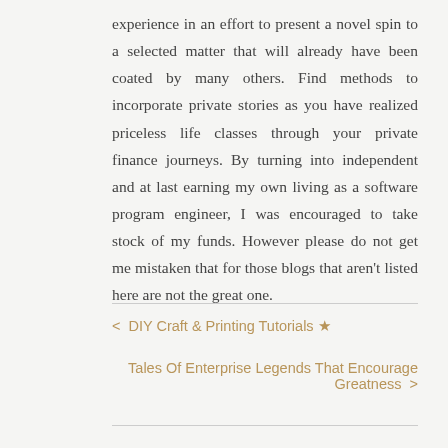experience in an effort to present a novel spin to a selected matter that will already have been coated by many others. Find methods to incorporate private stories as you have realized priceless life classes through your private finance journeys. By turning into independent and at last earning my own living as a software program engineer, I was encouraged to take stock of my funds. However please do not get me mistaken that for those blogs that aren't listed here are not the great one.
< DIY Craft & Printing Tutorials ★
Tales Of Enterprise Legends That Encourage Greatness >